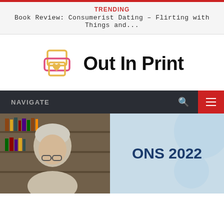TRENDING
Book Review: Consumerist Dating – Flirting with Things and...
[Figure (logo): Out In Print logo: printer icon with heart, and bold text 'Out In Print']
NAVIGATE
[Figure (photo): Featured article image: person with glasses in front of bookshelf on left half; light blue background with 'ONS 2022' text on right half]